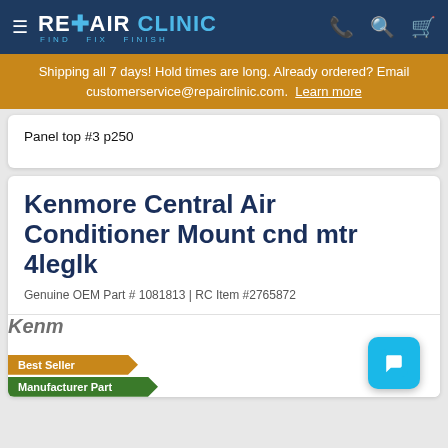REPAIR CLINIC — FIND. FIX. FINISH.
Shipping all 7 days! Hold times are long. Already ordered? Email customerservice@repairclinic.com. Learn more
Panel top #3 p250
Kenmore Central Air Conditioner Mount cnd mtr 4leglk
Genuine OEM Part # 1081813 | RC Item #2765872
[Figure (logo): Kenmore brand logo partial, Best Seller badge, Manufacturer Part badge, and live chat button]
Best Seller
Manufacturer Part